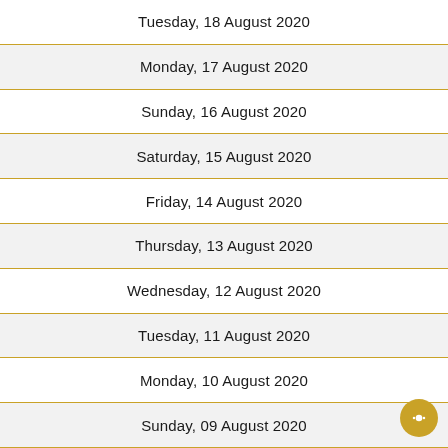Tuesday, 18 August 2020
Monday, 17 August 2020
Sunday, 16 August 2020
Saturday, 15 August 2020
Friday, 14 August 2020
Thursday, 13 August 2020
Wednesday, 12 August 2020
Tuesday, 11 August 2020
Monday, 10 August 2020
Sunday, 09 August 2020